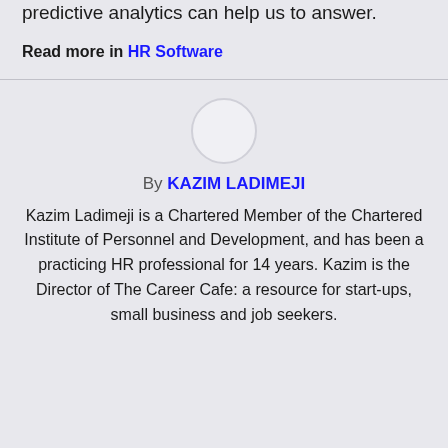predictive analytics can help us to answer.
Read more in HR Software
[Figure (illustration): Circular avatar placeholder image for author Kazim Ladimeji]
By KAZIM LADIMEJI
Kazim Ladimeji is a Chartered Member of the Chartered Institute of Personnel and Development, and has been a practicing HR professional for 14 years. Kazim is the Director of The Career Cafe: a resource for start-ups, small business and job seekers.